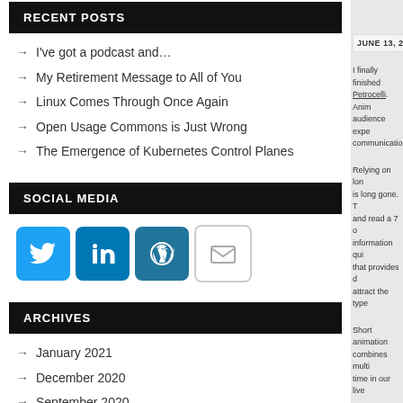RECENT POSTS
I've got a podcast and…
My Retirement Message to All of You
Linux Comes Through Once Again
Open Usage Commons is Just Wrong
The Emergence of Kubernetes Control Planes
SOCIAL MEDIA
[Figure (infographic): Social media icons: Twitter, LinkedIn, WordPress, Email]
ARCHIVES
January 2021
December 2020
September 2020
July 2020
May 2020
April 2020
JUNE 13, 2013
I finally finished… Petrocelli. Anim audience expe communication
Relying on lon is long gone. T and read a 7 o information qui that provides d attract the type
Short animation combines multi time in our live
I will admit tha good the exper Petrocelli on th Tom Petrocelli